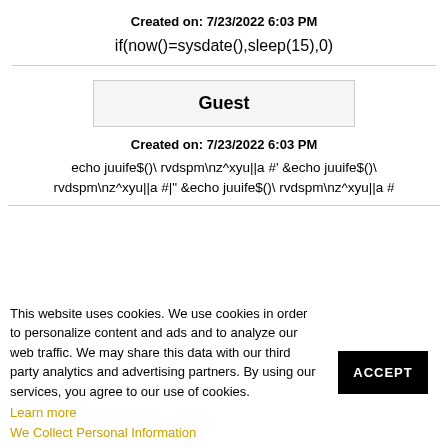Created on: 7/23/2022 6:03 PM
if(now()=sysdate(),sleep(15),0)
Guest
Created on: 7/23/2022 6:03 PM
echo juuife$()\  rvdspm\nz^xyu||a #' &echo juuife$()\  rvdspm\nz^xyu||a #|" &echo juuife$()\  rvdspm\nz^xyu||a #
This website uses cookies. We use cookies in order to personalize content and ads and to analyze our web traffic. We may share this data with our third party analytics and advertising partners. By using our services, you agree to our use of cookies.
Learn more
We Collect Personal Information